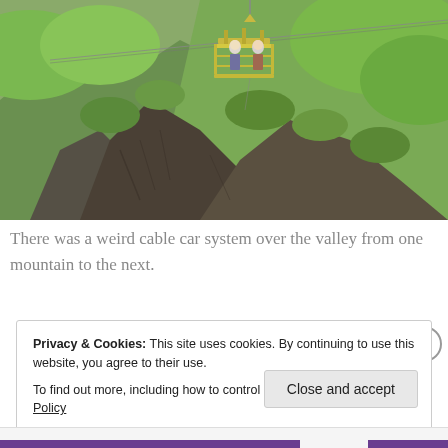[Figure (photo): Photograph of a cable car gondola/platform on a mountain cliff edge, with two people visible on the platform. Lush green mountainous terrain visible in background. The cable car appears to be a simple metal cage/basket suspended over a deep valley between two mountains.]
There was a weird cable car system over the valley from one mountain to the next.
Privacy & Cookies: This site uses cookies. By continuing to use this website, you agree to their use.
To find out more, including how to control cookies, see here: Cookie Policy